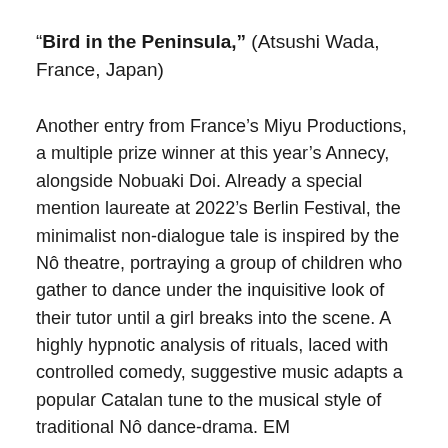“Bird in the Peninsula,” (Atsushi Wada, France, Japan)
Another entry from France’s Miyu Productions, a multiple prize winner at this year’s Annecy, alongside Nobuaki Doi. Already a special mention laureate at 2022’s Berlin Festival, the minimalist non-dialogue tale is inspired by the Nô theatre, portraying a group of children who gather to dance under the inquisitive look of their tutor until a girl breaks into the scene. A highly hypnotic analysis of rituals, laced with controlled comedy, suggestive music adapts a popular Catalan tune to the musical style of traditional Nô dance-drama. EM